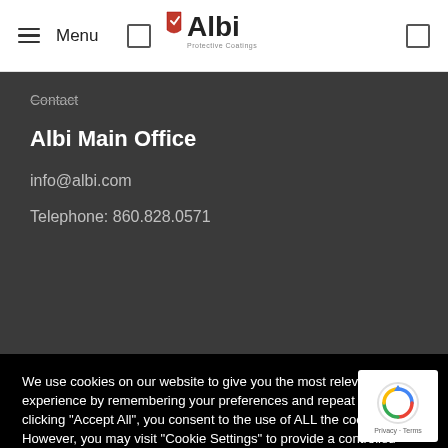Menu | Albi Protective Coatings
Contact
Albi Main Office
info@albi.com
Telephone: 860.828.0571
We use cookies on our website to give you the most relevant experience by remembering your preferences and repeat visits. By clicking "Accept All", you consent to the use of ALL the cookies. However, you may visit "Cookie Settings" to provide a controlled consent.
Cookie Settings | Accept All